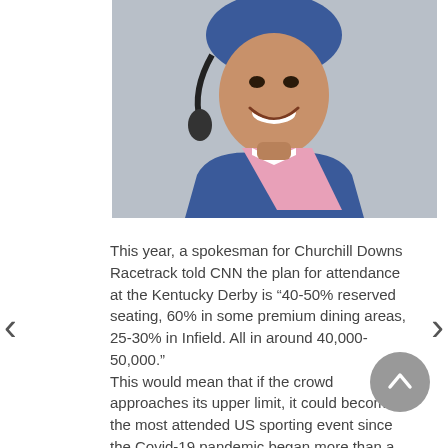[Figure (photo): A jockey wearing a blue and pink racing silks and a blue helmet with headphones, smiling broadly. Gray/overcast background.]
This year, a spokesman for Churchill Downs Racetrack told CNN the plan for attendance at the Kentucky Derby is “40-50% reserved seating, 60% in some premium dining areas, 25-30% in Infield. All in around 40,000-50,000.”
This would mean that if the crowd approaches its upper limit, it could become the most attended US sporting event since the Covid-19 pandemic began more than a year ago.
But eyes might be focused elsewhere.
Scenes from around the track as horses prepare for the Kentucky Derby and Kentucky Oaks at Churchill